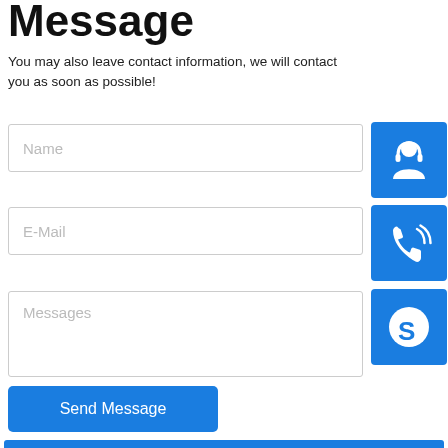Message
You may also leave contact information, we will contact you as soon as possible!
[Figure (illustration): Blue square icon with white customer support / headset person silhouette]
[Figure (illustration): Blue square icon with white telephone / call icon]
[Figure (illustration): Blue square icon with white Skype logo]
Name
E-Mail
Messages
Send Message
Steel structure flyover
modular prefab luxury prefab house resort container house